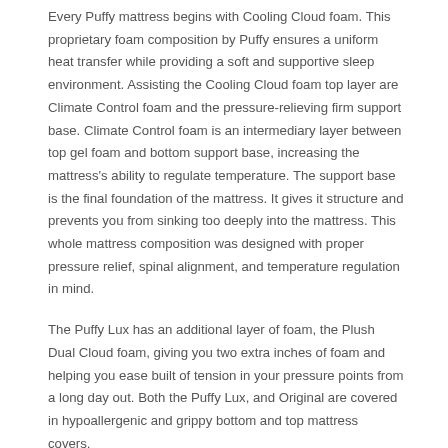Every Puffy mattress begins with Cooling Cloud foam. This proprietary foam composition by Puffy ensures a uniform heat transfer while providing a soft and supportive sleep environment. Assisting the Cooling Cloud foam top layer are Climate Control foam and the pressure-relieving firm support base. Climate Control foam is an intermediary layer between top gel foam and bottom support base, increasing the mattress's ability to regulate temperature. The support base is the final foundation of the mattress. It gives it structure and prevents you from sinking too deeply into the mattress. This whole mattress composition was designed with proper pressure relief, spinal alignment, and temperature regulation in mind.
The Puffy Lux has an additional layer of foam, the Plush Dual Cloud foam, giving you two extra inches of foam and helping you ease built of tension in your pressure points from a long day out. Both the Puffy Lux, and Original are covered in hypoallergenic and grippy bottom and top mattress covers.